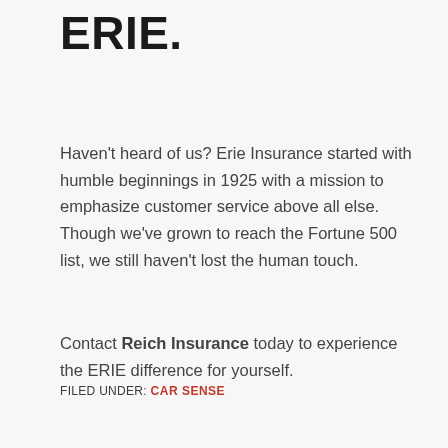ERIE.
Haven't heard of us? Erie Insurance started with humble beginnings in 1925 with a mission to emphasize customer service above all else. Though we've grown to reach the Fortune 500 list, we still haven't lost the human touch.
Contact Reich Insurance today to experience the ERIE difference for yourself.
FILED UNDER: CAR SENSE